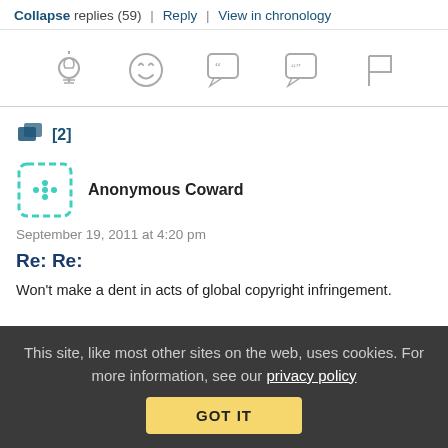Collapse replies (59) | Reply | View in chronology
[Figure (infographic): Row of 5 icon buttons: lightbulb (insight), laughing face (funny), speech bubble with quote marks (quote), speech bubble with double quote (reply quote), flag (report)]
[2]
[Figure (other): Anonymous Coward avatar - teal dashed square with dots pattern]
Anonymous Coward
September 19, 2011 at 4:20 pm
Re: Re:
Won’t make a dent in acts of global copyright infringement.
This site, like most other sites on the web, uses cookies. For more information, see our privacy policy
GOT IT